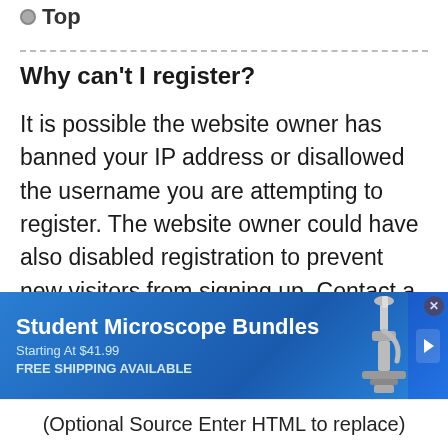Top
Why can't I register?
It is possible the website owner has banned your IP address or disallowed the username you are attempting to register. The website owner could have also disabled registration to prevent new visitors from signing up. Contact a board administrator for assistance.
[Figure (other): Advertisement banner for Student Microscope Bundles, starting at $41.99, free shipping available, with a microscope image on the right.]
(Optional Source Enter HTML to replace)